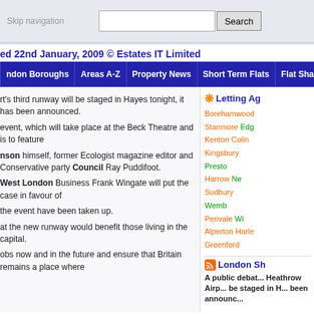Skip navigation | Search
ed 22nd January, 2009 © Estates IT Limited
ndon Boroughs | Areas A-Z | Property News | Short Term Flats | Flat Share | Com...
rt's third runway will be staged in Hayes tonight, it has been announced.
event, which will take place at the Beck Theatre and is to feature
nson himself, former Ecologist magazine editor and Conservative party Council Ray Puddifoot.
West London Business Frank Wingate will put the case in favour of
the event have been taken up.
at the new runway would benefit those living in the capital.
obs now and in the future and ensure that Britain remains a place where
Letting Ag...
Borehamwood Stanmore Edg... Kenton Colin... Kingsbury Preston... Harrow Ne... Sudbury Wemb... Perivale Wi... Alperton Harle... Greenford
London Sh...
A public debat... Heathrow Airp... be staged in H... been announc...